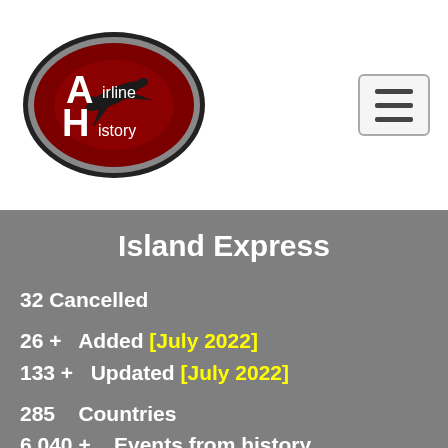[Figure (logo): Airline History oval logo with dark red background, airplane silhouette, and white text reading 'Airline History']
Island Express
32 Cancelled
26 +   Added [July 2022]
133 +   Updated [July 2022]
285    Countries
6,040 +    Events from history
Additions & Updates